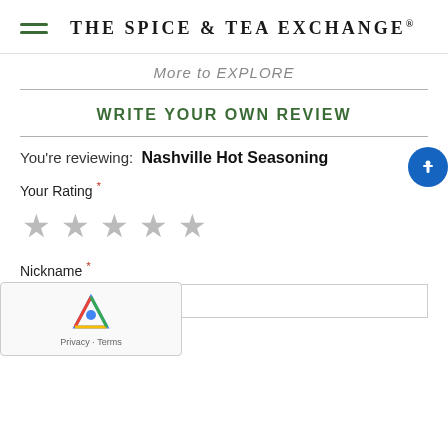THE SPICE & TEA EXCHANGE®
More to EXPLORE
WRITE YOUR OWN REVIEW
You're reviewing:  Nashville Hot Seasoning
Your Rating *
[Figure (other): Five empty star rating icons in gray]
Nickname *
Summary *